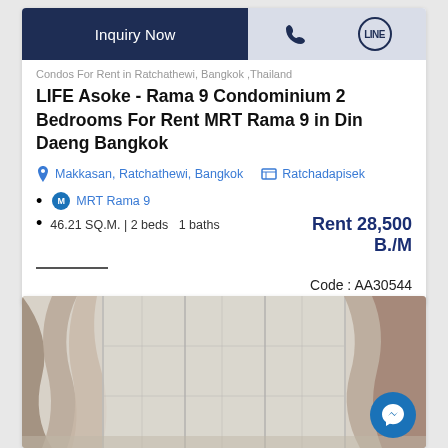[Figure (other): Inquiry Now button bar with phone and LINE icons on dark blue and light blue background]
Condos For Rent in Ratchathewi, Bangkok ,Thailand
LIFE Asoke - Rama 9 Condominium 2 Bedrooms For Rent MRT Rama 9 in Din Daeng Bangkok
Makkasan, Ratchathewi, Bangkok   Ratchadapisek
MRT Rama 9
46.21 SQ.M. | 2 beds  1 baths     Rent 28,500 B./M
Code : AA30544
[Figure (photo): Interior photo of a room with curtains and windows, bright natural light]